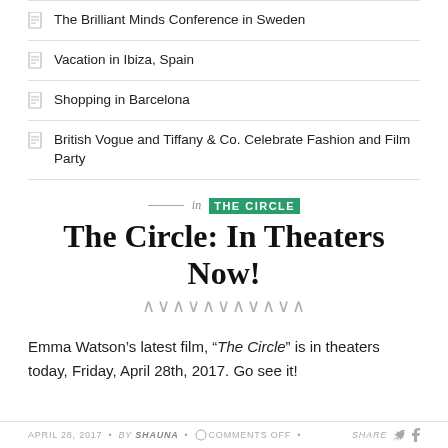The Brilliant Minds Conference in Sweden
Vacation in Ibiza, Spain
Shopping in Barcelona
British Vogue and Tiffany & Co. Celebrate Fashion and Film Party
in THE CIRCLE
The Circle: In Theaters Now!
Emma Watson's latest film, “The Circle” is in theaters today, Friday, April 28th, 2017. Go see it!
APRIL 28, 2017 • by SHAUNA • COMMENTS OFF • Share